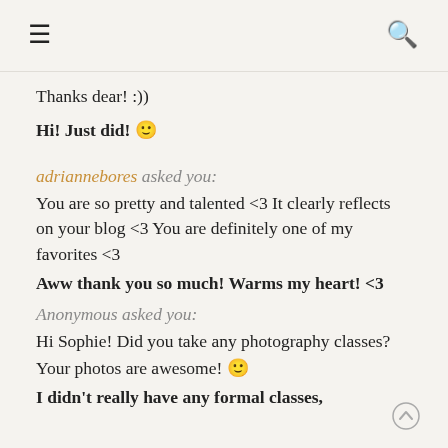☰  🔍
Thanks dear! :))
Hi! Just did! 🙂
adriannebores asked you:
You are so pretty and talented <3 It clearly reflects on your blog <3 You are definitely one of my favorites <3
Aww thank you so much! Warms my heart! <3
Anonymous asked you:
Hi Sophie! Did you take any photography classes? Your photos are awesome! 🙂
I didn't really have any formal classes,